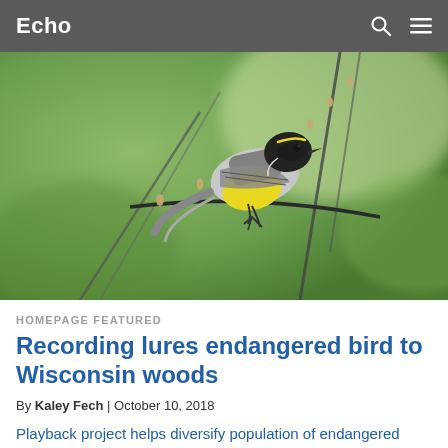Echo
[Figure (photo): A Kirtland's warbler bird with yellow chest and black-streaked grey wings perched on a bare branch with buds, against a blurred green background.]
HOMEPAGE FEATURED
Recording lures endangered bird to Wisconsin woods
By Kaley Fech | October 10, 2018
Playback project helps diversify population of endangered Kirtland's warblers.